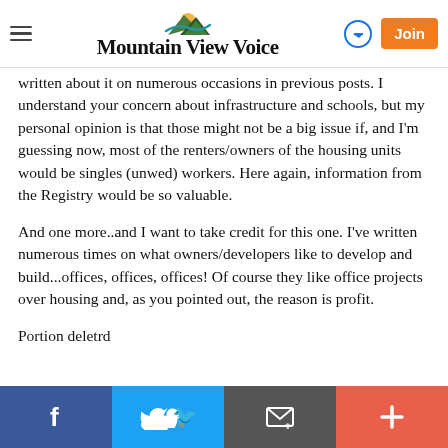Mountain View Voice
written about it on numerous occasions in previous posts. I understand your concern about infrastructure and schools, but my personal opinion is that those might not be a big issue if, and I'm guessing now, most of the renters/owners of the housing units would be singles (unwed) workers. Here again, information from the Registry would be so valuable.
And one more..and I want to take credit for this one. I've written numerous times on what owners/developers like to develop and build...offices, offices, offices! Of course they like office projects over housing and, as you pointed out, the reason is profit.
Portion deletrd
Facebook | Twitter | Email | More